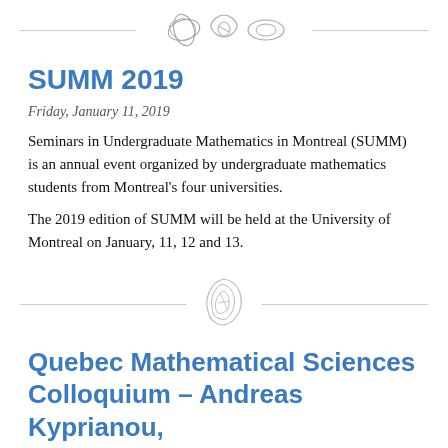[Figure (illustration): Mathematical knot diagrams (three knots) used as decorative divider at top of page]
SUMM 2019
Friday, January 11, 2019
Seminars in Undergraduate Mathematics in Montreal (SUMM) is an annual event organized by undergraduate mathematics students from Montreal's four universities.
The 2019 edition of SUMM will be held at the University of Montreal on January, 11, 12 and 13.
[Figure (illustration): Single mathematical knot diagram used as decorative divider in middle of page]
Quebec Mathematical Sciences Colloquium - Andreas Kyprianou,